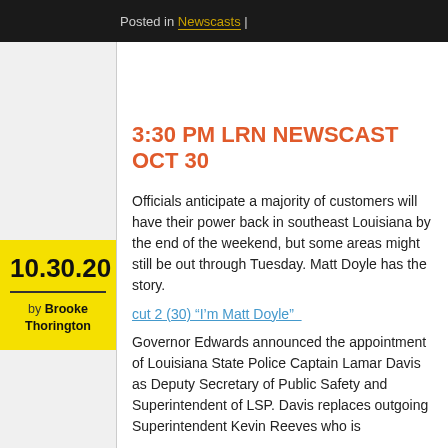Posted in Newscasts |
3:30 PM LRN NEWSCAST OCT 30
10.30.20
by Brooke Thorington
Officials anticipate a majority of customers will have their power back in southeast Louisiana by the end of the weekend, but some areas might still be out through Tuesday. Matt Doyle has the story.
cut 2 (30) “I’m Matt Doyle”
Governor Edwards announced the appointment of Louisiana State Police Captain Lamar Davis as Deputy Secretary of Public Safety and Superintendent of LSP. Davis replaces outgoing Superintendent Kevin Reeves who is